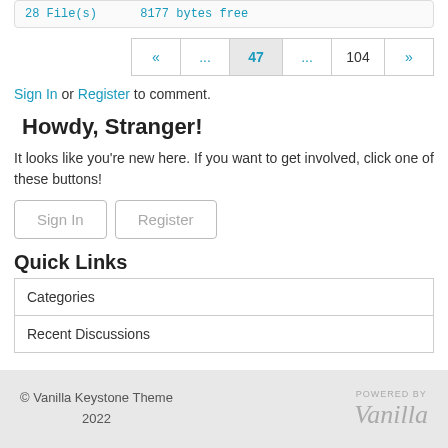28 File(s)     8177 bytes free
« ... 47 ... 104 »
Sign In or Register to comment.
Howdy, Stranger!
It looks like you're new here. If you want to get involved, click one of these buttons!
Sign In   Register
Quick Links
| Categories |
| Recent Discussions |
© Vanilla Keystone Theme 2022  POWERED BY Vanilla